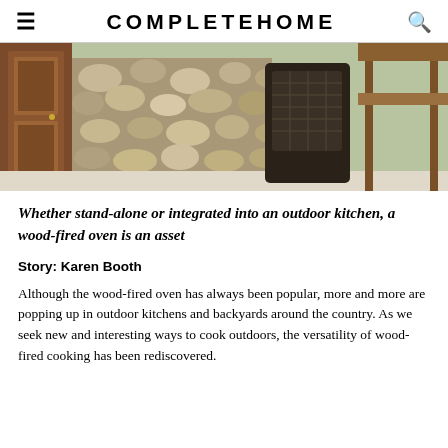COMPLETEHOME
[Figure (photo): Outdoor dining area with wicker chairs, a wooden table, a stone wall in the background, and a wooden door on the left.]
Whether stand-alone or integrated into an outdoor kitchen, a wood-fired oven is an asset
Story: Karen Booth
Although the wood-fired oven has always been popular, more and more are popping up in outdoor kitchens and backyards around the country. As we seek new and interesting ways to cook outdoors, the versatility of wood-fired cooking has been rediscovered.